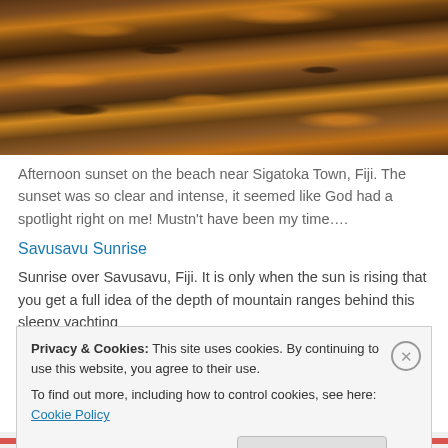[Figure (photo): Photograph of a rocky beach surface at sunset near Sigatoka Town, Fiji. The rocks and sand appear dark grey/brown with vivid orange-golden light illuminating them from the sunset.]
Afternoon sunset on the beach near Sigatoka Town, Fiji. The sunset was so clear and intense, it seemed like God had a spotlight right on me! Mustn't have been my time….
Savusavu Sunrise
Sunrise over Savusavu, Fiji. It is only when the sun is rising that you get a full idea of the depth of mountain ranges behind this sleepy yachting
Privacy & Cookies: This site uses cookies. By continuing to use this website, you agree to their use.
To find out more, including how to control cookies, see here: Cookie Policy
Close and accept